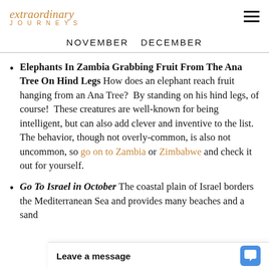extraordinary JOURNEYS
NOVEMBER  DECEMBER
Elephants In Zambia Grabbing Fruit From The Ana Tree On Hind Legs How does an elephant reach fruit hanging from an Ana Tree?  By standing on his hind legs, of course!  These creatures are well-known for being intelligent, but can also add clever and inventive to the list.  The behavior, though not overly-common, is also not uncommon, so go on to Zambia or Zimbabwe and check it out for yourself.
Go To Israel in October The coastal plain of Israel borders the Mediterranean Sea and provides many beaches and a sand... east sits the growin...